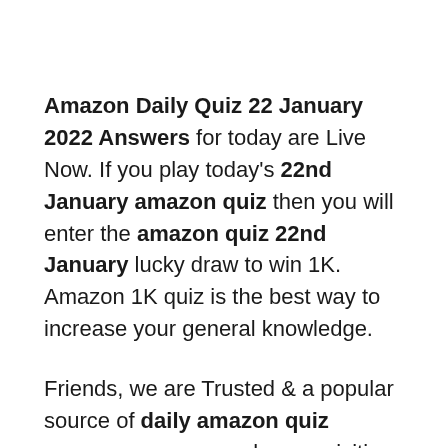Amazon Daily Quiz 22 January 2022 Answers for today are Live Now. If you play today's 22nd January amazon quiz then you will enter the amazon quiz 22nd January lucky draw to win 1K. Amazon 1K quiz is the best way to increase your general knowledge.
Friends, we are Trusted & a popular source of daily amazon quiz answers. many peoples are visiting our blog regularly so if you are a daily quiz player & searching for amazon quiz 22 January answers then this is